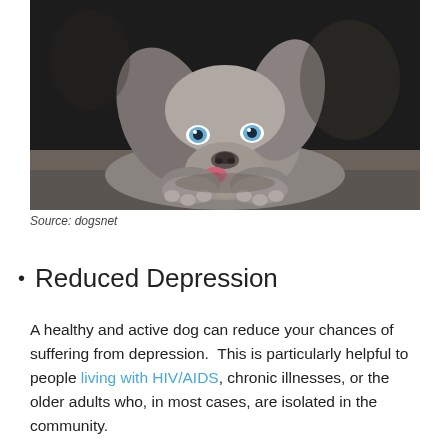[Figure (photo): A gray/silver Weimaraner puppy lying down with its chin resting on its paws, looking up with blue eyes. Dark background.]
Source: dogsnet
Reduced Depression
A healthy and active dog can reduce your chances of suffering from depression.  This is particularly helpful to people living with HIV/AIDS, chronic illnesses, or the older adults who, in most cases, are isolated in the community.